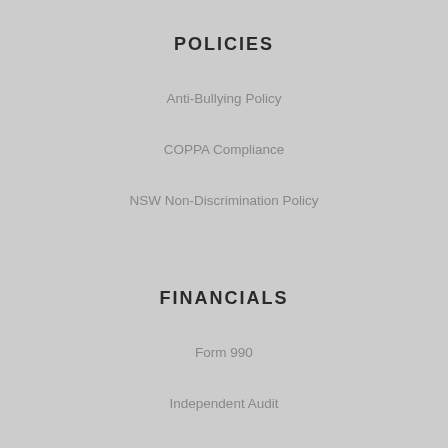POLICIES
Anti-Bullying Policy
COPPA Compliance
NSW Non-Discrimination Policy
FINANCIALS
Form 990
Independent Audit
Annual Reports
Newsletters